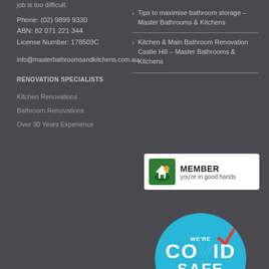job is too difficult.
Phone: (02) 9899 9330
ABN: 82 071 221 344
License Number: 178503C
info@masterbathroomsandkitchens.com.au
RENOVATION SPECIALISTS
Kitchen Renovations
Bathroom Renovations
Over 30 Years Experience
Tips to maximise bathroom storage – Master Bathrooms & Kitchens
Kitchen & Main Bathroom Renovation Castle Hill – Master Bathrooms & Kitchens
[Figure (logo): HIA Member badge – green logo with hand holding a house, text: MEMBER you're in good hands]
[Figure (logo): We're COVID SAFE circular badge in cyan/blue]